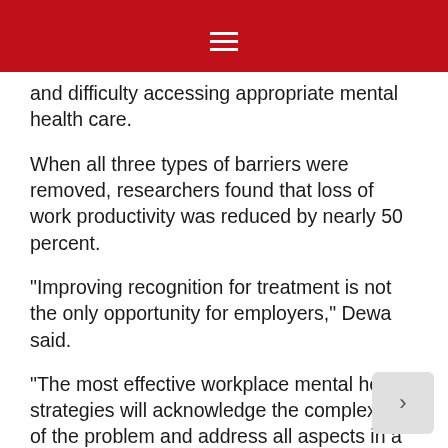≡
and difficulty accessing appropriate mental health care.
When all three types of barriers were removed, researchers found that loss of work productivity was reduced by nearly 50 percent.
“Improving recognition for treatment is not the only opportunity for employers,” Dewa said.
“The most effective workplace mental health strategies will acknowledge the complexity of the problem and address all aspects in a comprehensive way.”
Source: Centre for Addiction and Mental Hea…